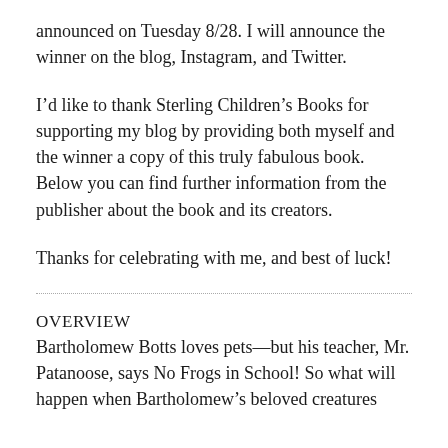announced on Tuesday 8/28. I will announce the winner on the blog, Instagram, and Twitter.
I’d like to thank Sterling Children’s Books for supporting my blog by providing both myself and the winner a copy of this truly fabulous book. Below you can find further information from the publisher about the book and its creators.
Thanks for celebrating with me, and best of luck!
OVERVIEW
Bartholomew Botts loves pets—but his teacher, Mr. Patanoose, says No Frogs in School! So what will happen when Bartholomew’s beloved creatures